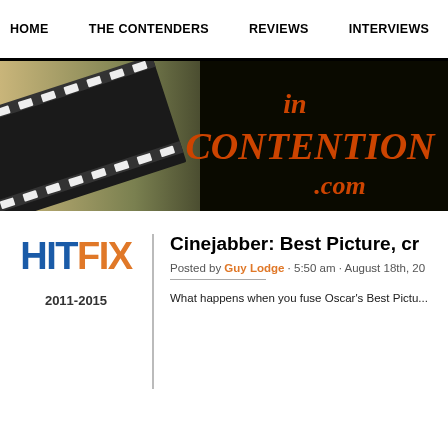HOME  THE CONTENDERS  REVIEWS  INTERVIEWS
[Figure (photo): In Contention .com banner logo on a film strip background, dark/black background with orange stylized text]
[Figure (logo): HitFix logo in blue and orange with years 2011-2015 below]
Cinejabber: Best Picture, cr
Posted by Guy Lodge · 5:50 am · August 18th, 2...
What happens when you fuse Oscar's Best Pictu...